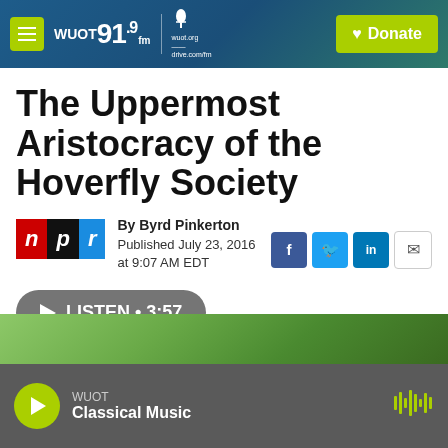WUOT 91.9 fm | wuot.org | Donate
The Uppermost Aristocracy of the Hoverfly Society
By Byrd Pinkerton
Published July 23, 2016 at 9:07 AM EDT
LISTEN • 3:57
[Figure (photo): Green foliage photo strip]
WUOT
Classical Music